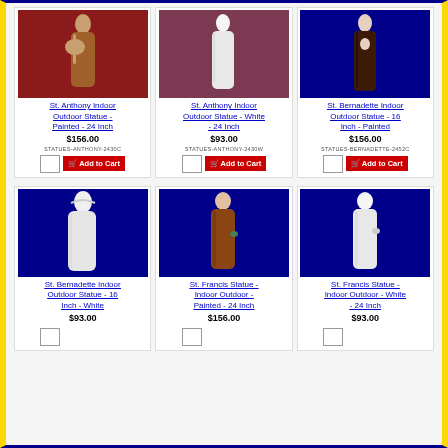[Figure (photo): St. Anthony Indoor Outdoor Statue - Painted - 24 Inch product photo on dark red background]
St. Anthony Indoor Outdoor Statue - Painted - 24 Inch
$156.00
STATUES-ANTHONY-2430C
[Figure (photo): St. Anthony Indoor Outdoor Statue - White - 24 Inch product photo on mauve background]
St. Anthony Indoor Outdoor Statue - White - 24 Inch
$93.00
STATUES-ANTHONY-2430W
[Figure (photo): St. Bernadette Indoor Outdoor Statue - 16 Inch - Painted product photo on blue background]
St. Bernadette Indoor Outdoor Statue - 16 Inch - Painted
$156.00
STATUES-BERNADETTE-2452C
[Figure (photo): St. Bernadette Indoor Outdoor Statue - 16 Inch - White product photo on blue background]
St. Bernadette Indoor Outdoor Statue - 16 Inch - White
$93.00
[Figure (photo): St. Francis Statue - Indoor Outdoor - Painted - 24 Inch product photo on blue background]
St. Francis Statue - Indoor Outdoor - Painted - 24 Inch
$156.00
[Figure (photo): St. Francis Statue - Indoor Outdoor - White - 24 Inch product photo on blue background]
St. Francis Statue - Indoor Outdoor - White - 24 Inch
$93.00